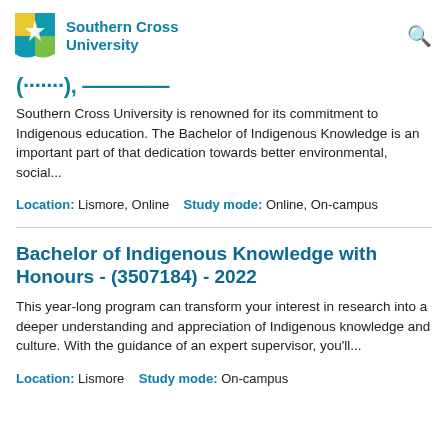Southern Cross University
(.......) - ----
Southern Cross University is renowned for its commitment to Indigenous education. The Bachelor of Indigenous Knowledge is an important part of that dedication towards better environmental, social...
Location: Lismore, Online   Study mode: Online, On-campus
Bachelor of Indigenous Knowledge with Honours - (3507184) - 2022
This year-long program can transform your interest in research into a deeper understanding and appreciation of Indigenous knowledge and culture. With the guidance of an expert supervisor, you'll...
Location: Lismore   Study mode: On-campus